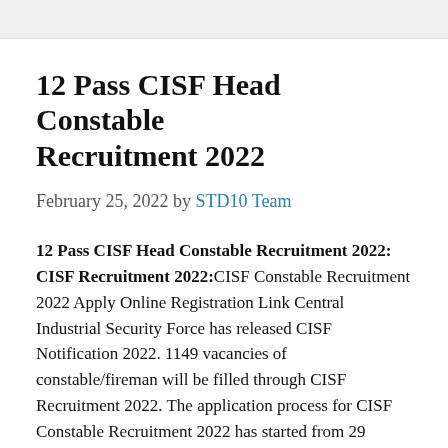12 Pass CISF Head Constable Recruitment 2022
February 25, 2022 by STD10 Team
12 Pass CISF Head Constable Recruitment 2022: CISF Recruitment 2022: CISF Constable Recruitment 2022 Apply Online Registration Link Central Industrial Security Force has released CISF Notification 2022. 1149 vacancies of constable/fireman will be filled through CISF Recruitment 2022. The application process for CISF Constable Recruitment 2022 has started from 29 January 2022. The last date to apply for CISF Constable Fireman Recruitment 2022 is 4th March